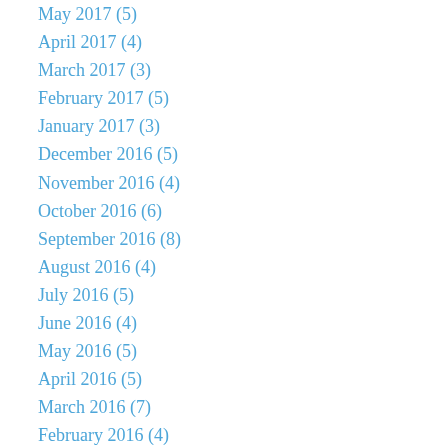May 2017 (5)
April 2017 (4)
March 2017 (3)
February 2017 (5)
January 2017 (3)
December 2016 (5)
November 2016 (4)
October 2016 (6)
September 2016 (8)
August 2016 (4)
July 2016 (5)
June 2016 (4)
May 2016 (5)
April 2016 (5)
March 2016 (7)
February 2016 (4)
January 2016 (6)
December 2015 (5)
November 2015 (5)
October 2015 (5)